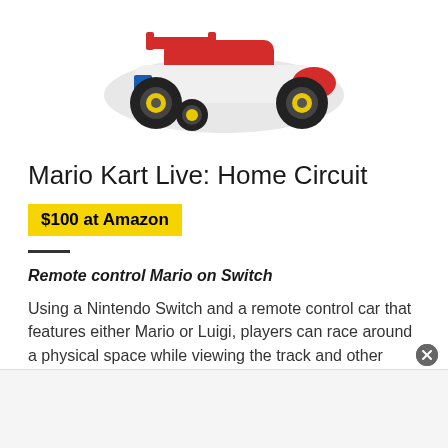[Figure (photo): Mario Kart Live Home Circuit remote control kart toy — red, white and blue race car with yellow wheels, viewed from above-front angle]
Mario Kart Live: Home Circuit
$100 at Amazon
Remote control Mario on Switch
Using a Nintendo Switch and a remote control car that features either Mario or Luigi, players can race around a physical space while viewing the track and other opponents via the Switch screen.
LUIGI TIME!